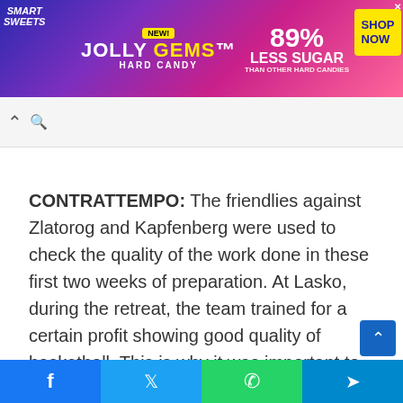[Figure (photo): Smart Sweets Jolly Gems Hard Candy advertisement banner. Features colorful candy imagery, '89% LESS SUGAR THAN OTHER HARD CANDIES' text, and a yellow 'SHOP NOW' button. Blue, purple, and pink gradient background.]
CONTRATTEMPO: The friendlies against Zlatorog and Kapfenberg were used to check the quality of the work done in these first two weeks of preparation. At Lasko, during the retreat, the team trained for a certain profit showing good quality of basketball. This is why it was important to be able to test the group as well bearing in mind that the first official engagement, in Trento, was less than two weeks away.